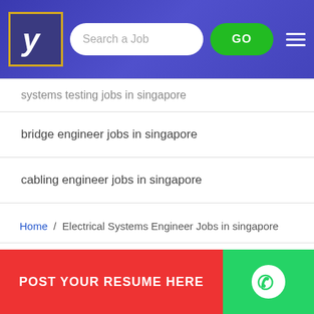[Figure (screenshot): Navigation bar with logo (stylized 'y' in gold-bordered box), search field 'Search a Job', green GO button, and hamburger menu on blue gradient background]
systems testing jobs in singapore
bridge engineer jobs in singapore
cabling engineer jobs in singapore
Home / Electrical Systems Engineer Jobs in singapore
Contact Us - Terms of Services - Privacy Policy - Help for Freshers
Follow us on :
POST YOUR RESUME HERE